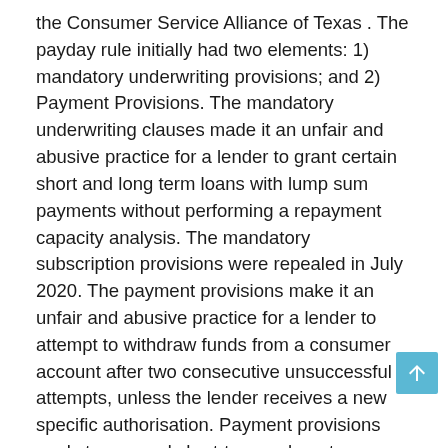the Consumer Service Alliance of Texas . The payday rule initially had two elements: 1) mandatory underwriting provisions; and 2) Payment Provisions. The mandatory underwriting clauses made it an unfair and abusive practice for a lender to grant certain short and long term loans with lump sum payments without performing a repayment capacity analysis. The mandatory subscription provisions were repealed in July 2020. The payment provisions make it an unfair and abusive practice for a lender to attempt to withdraw funds from a consumer account after two consecutive unsuccessful attempts, unless the lender receives a new specific authorisation. Payment provisions apply to covered short-term or long-term lump-sum loans, including payday loans and vehicle titles, and certain other high-cost long-term loans. The District Court for the Western District of Texas set the mandatory compliance date for June 2022, but the Fifth Circuit's decision puts that compliance date in jeopardy.
The payday rule helps protect borrowers who can live paycheck